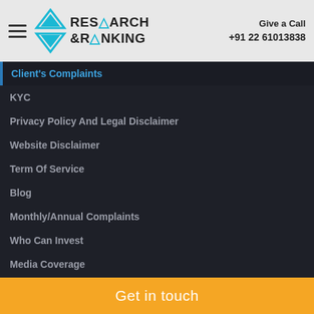[Figure (logo): Research & Ranking logo with teal/blue geometric hourglass/triangle icon and hamburger menu icon, plus Give a Call +91 22 61013838 on the right]
Client's Complaints
KYC
Privacy Policy And Legal Disclaimer
Website Disclaimer
Term Of Service
Blog
Monthly/Annual Complaints
Who Can Invest
Media Coverage
R&R CSR
Subscription Referral Program
Get in touch